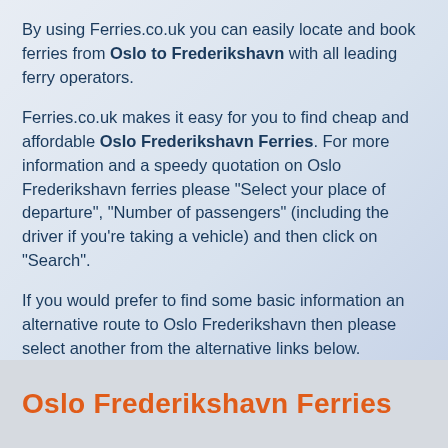By using Ferries.co.uk you can easily locate and book ferries from Oslo to Frederikshavn with all leading ferry operators.
Ferries.co.uk makes it easy for you to find cheap and affordable Oslo Frederikshavn Ferries. For more information and a speedy quotation on Oslo Frederikshavn ferries please "Select your place of departure", "Number of passengers" (including the driver if you're taking a vehicle) and then click on "Search".
If you would prefer to find some basic information an alternative route to Oslo Frederikshavn then please select another from the alternative links below.
Oslo Frederikshavn Ferries